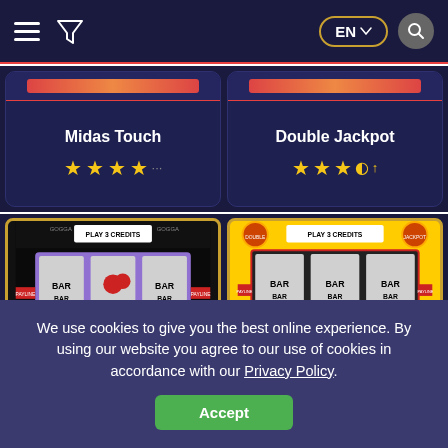[Figure (screenshot): Navigation bar with hamburger menu, filter icon, EN language selector, and search button on dark navy background]
Midas Touch
[Figure (other): Star rating for Midas Touch: 4 stars]
Double Jackpot
[Figure (other): Star rating for Double Jackpot: approximately 3.5 stars]
[Figure (screenshot): Slot machine game thumbnail for Midas Touch - dark themed slot with BAR symbols, GOGGA branding, PLAY 3 CREDITS, 5c denomination]
[Figure (screenshot): Slot machine game thumbnail for Double Jackpot - yellow themed slot with BAR symbols, PLAY 3 CREDITS, 5c denomination]
We use cookies to give you the best online experience. By using our website you agree to our use of cookies in accordance with our Privacy Policy.
Accept